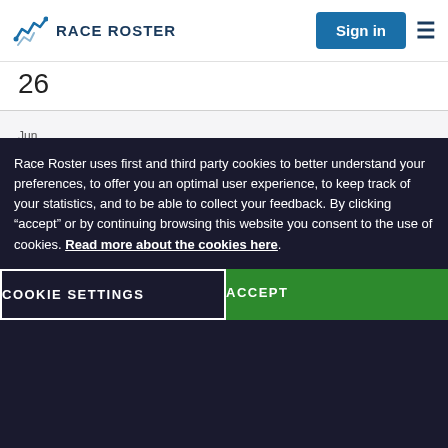RACE ROSTER | Sign in
26
Jun 16 EARL TAFF $200.00
Jun 16 EARL TAFF $200.00
Jun 16 EARL TAFF $200.00
Race Roster uses first and third party cookies to better understand your preferences, to offer you an optimal user experience, to keep track of your statistics, and to be able to collect your feedback. By clicking “accept” or by continuing browsing this website you consent to the use of cookies. Read more about the cookies here.
COOKIE SETTINGS
ACCEPT